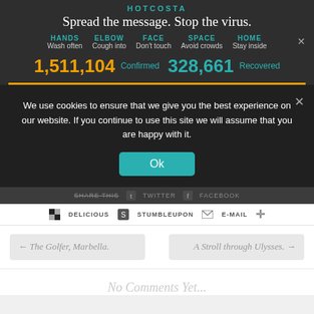HOTCOSTA
Spread the message. Stop the virus.
HANDS Wash often  ELBOW Cough into  FACE Don't touch  SPACE Avoid crowds  HOME Stay inside
1,511,104 Confirmed  328,661 Recovered
We use cookies to ensure that we give you the best experience on our website. If you continue to use this site we will assume that you are happy with it.
Ok
SHARE THIS  TWITTER  FACEBOOK
DELICIOUS  STUMBLEUPON  E-MAIL  +
← The Golfer, Marbella.
A Stroll through Ulysses. →
No Comments Yet...